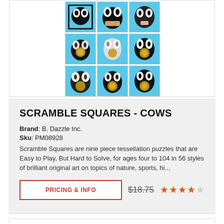[Figure (photo): 3x3 grid of puzzle tile images showing colorful cow illustrations on blue backgrounds]
SCRAMBLE SQUARES - COWS
Brand: B. Dazzle Inc.
Sku: PM08928
Scramble Squares are nine piece tessellation puzzles that are Easy to Play, But Hard to Solve, for ages four to 104 in 56 styles of brilliant original art on topics of nature, sports, hi...
PRICING & INFO   $18.75  ★★★★☆